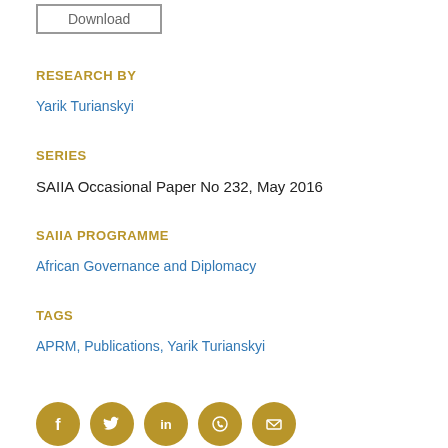[Figure (other): Download button with border]
RESEARCH BY
Yarik Turianskyi
SERIES
SAIIA Occasional Paper No 232, May 2016
SAIIA PROGRAMME
African Governance and Diplomacy
TAGS
APRM, Publications, Yarik Turianskyi
[Figure (other): Row of five gold social media icon circles: Facebook, Twitter, LinkedIn, WhatsApp, Email]